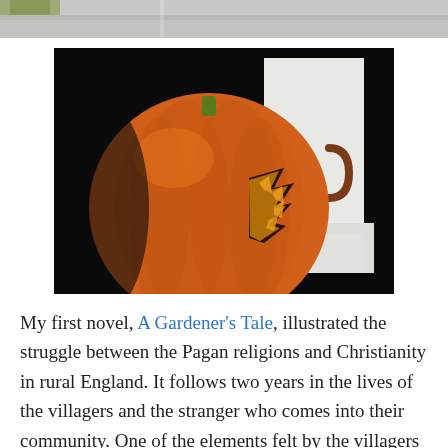[Figure (photo): Partial top strip of a photo showing pavement/ground with some green foliage visible at top left corner.]
[Figure (photo): A carved pumpkin jack-o-lantern with jagged teeth cut into it, sitting on a white painted wooden step/pedestal outdoors at night. A horseshoe shape is visible on the white post behind it.]
My first novel, A Gardener's Tale, illustrated the struggle between the Pagan religions and Christianity in rural England. It follows two years in the lives of the villagers and the stranger who comes into their community. One of the elements felt by the villagers is the breakdown of their